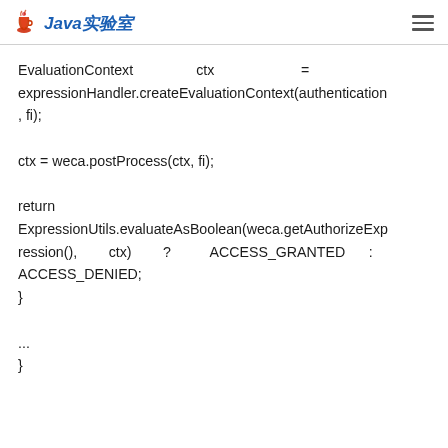Java实验室
EvaluationContext ctx = expressionHandler.createEvaluationContext(authentication, fi);

ctx = weca.postProcess(ctx, fi);

return ExpressionUtils.evaluateAsBoolean(weca.getAuthorizeExpression(), ctx) ? ACCESS_GRANTED : ACCESS_DENIED;
}

...
}